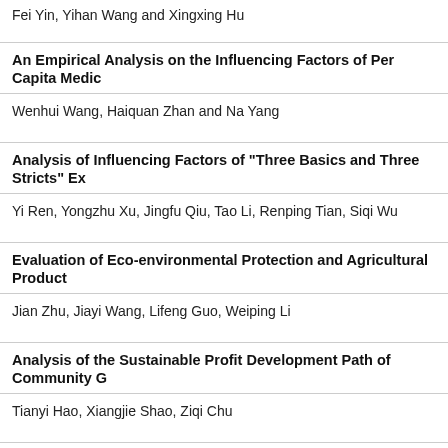Fei Yin, Yihan Wang and Xingxing Hu
An Empirical Analysis on the Influencing Factors of Per Capita Medic...
Wenhui Wang, Haiquan Zhan and Na Yang
Analysis of Influencing Factors of "Three Basics and Three Stricts" Ex...
Yi Ren, Yongzhu Xu, Jingfu Qiu, Tao Li, Renping Tian, Siqi Wu
Evaluation of Eco-environmental Protection and Agricultural Product...
Jian Zhu, Jiayi Wang, Lifeng Guo, Weiping Li
Analysis of the Sustainable Profit Development Path of Community G...
Tianyi Hao, Xiangjie Shao, Ziqi Chu
Quantitative Analysis on Influencing Factors of Chinese Resident Savi...
Siqi Li, Shuqi Chen, Ke Xu, Rui Chen
Research and Analysis on the Trade Structure of China and India and...